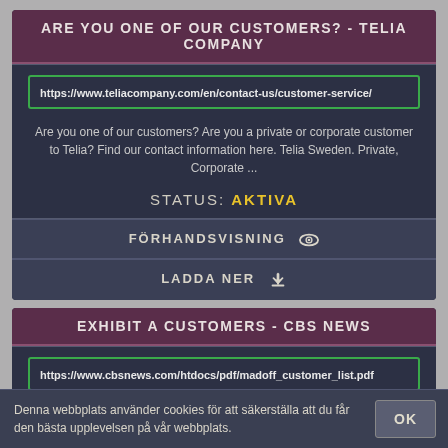ARE YOU ONE OF OUR CUSTOMERS? - TELIA COMPANY
https://www.teliacompany.com/en/contact-us/customer-service/
Are you one of our customers? Are you a private or corporate customer to Telia? Find our contact information here. Telia Sweden. Private, Corporate ...
STATUS: AKTIVA
FÖRHANDSVISNING
LADDA NER
EXHIBIT A CUSTOMERS - CBS NEWS
https://www.cbsnews.com/htdocs/pdf/madoff_customer_list.pdf
customers line1 line2 line3 line4 line5 line6 1000 connecticut ave assoc 1919
Denna webbplats använder cookies för att säkerställa att du får den bästa upplevelsen på vår webbplats.